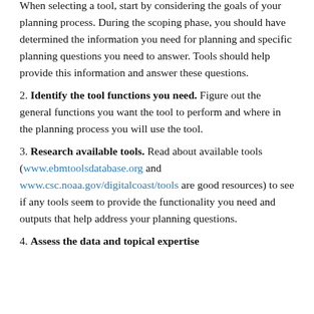When selecting a tool, start by considering the goals of your planning process. During the scoping phase, you should have determined the information you need for planning and specific planning questions you need to answer. Tools should help provide this information and answer these questions.
2. Identify the tool functions you need. Figure out the general functions you want the tool to perform and where in the planning process you will use the tool.
3. Research available tools. Read about available tools (www.ebmtoolsdatabase.org and www.csc.noaa.gov/digitalcoast/tools are good resources) to see if any tools seem to provide the functionality you need and outputs that help address your planning questions.
4. Assess the data and topical expertise